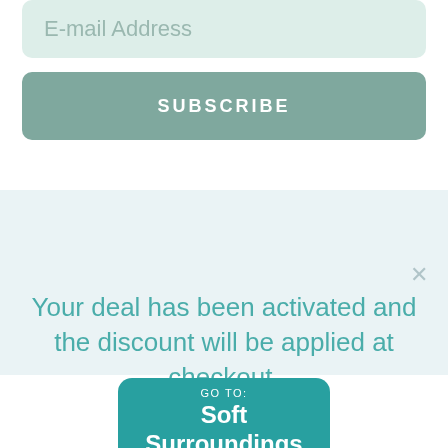E-mail Address
SUBSCRIBE
Your deal has been activated and the discount will be applied at checkout.
GO TO: Soft Surroundings